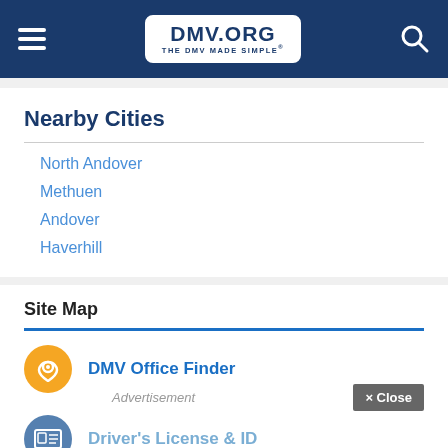DMV.ORG — THE DMV MADE SIMPLE
Nearby Cities
North Andover
Methuen
Andover
Haverhill
Site Map
DMV Office Finder
Driver's License & ID
Registration & Title
Advertisement
× Close